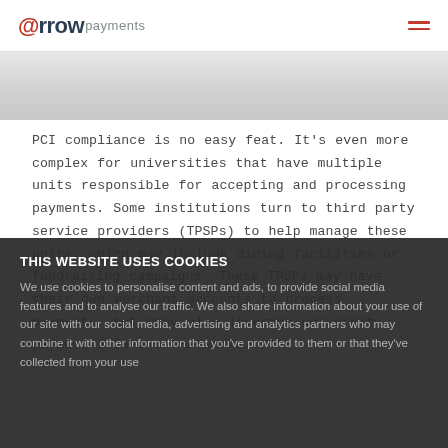@rrowpayments
[Figure (photo): Gray image banner/placeholder below the header navigation bar]
PCI compliance is no easy feat. It's even more complex for universities that have multiple units responsible for accepting and processing payments. Some institutions turn to third party service providers (TPSPs) to help manage these units, which may include dining facilities or fundraising campaigns. These TPSPs may have their own merchant accounts to process payments, but many also leverage university payment offers or networks.
THIS WEBSITE USES COOKIES
We use cookies to personalise content and ads, to provide social media features and to analyse our traffic. We also share information about your use of our site with our social media, advertising and analytics partners who may combine it with other information that you've provided to them or that they've collected from your use